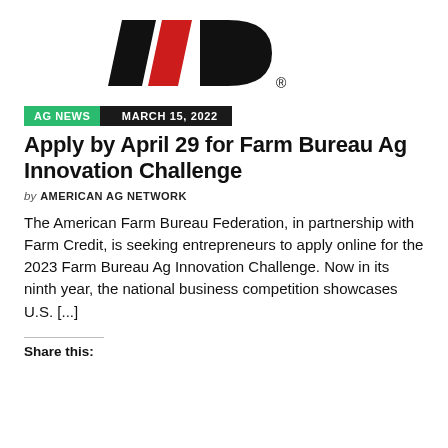[Figure (logo): American Ag Network or Farm Bureau related logo with black and red diagonal stripe shapes forming letters, with a registered trademark symbol]
AG NEWS   MARCH 15, 2022
Apply by April 29 for Farm Bureau Ag Innovation Challenge
by AMERICAN AG NETWORK
The American Farm Bureau Federation, in partnership with Farm Credit, is seeking entrepreneurs to apply online for the 2023 Farm Bureau Ag Innovation Challenge. Now in its ninth year, the national business competition showcases U.S. [...]
Share this: